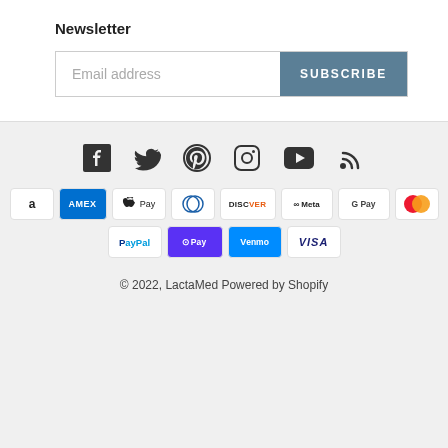Newsletter
Email address
SUBSCRIBE
[Figure (infographic): Social media icons: Facebook, Twitter, Pinterest, Instagram, YouTube, RSS]
[Figure (infographic): Payment method logos: Amazon, Amex, Apple Pay, Diners, Discover, Meta Pay, Google Pay, Mastercard, PayPal, Shop Pay, Venmo, Visa]
© 2022, LactaMed Powered by Shopify